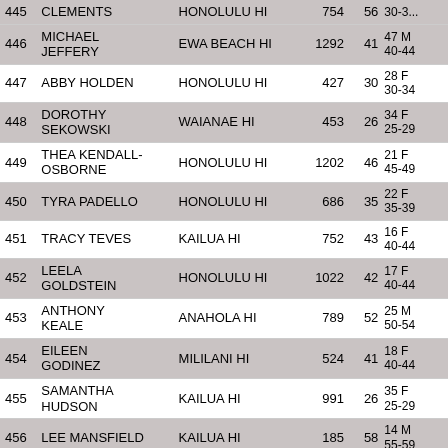| # | NAME | CITY | BIB | AGE | CAT |
| --- | --- | --- | --- | --- | --- |
| 445 | CLEMENTS | HONOLULU HI | 754 | 56 | 30-3... |
| 446 | MICHAEL JEFFERY | EWA BEACH HI | 1292 | 41 | 47 M 40-44 |
| 447 | ABBY HOLDEN | HONOLULU HI | 427 | 30 | 28 F 30-34 |
| 448 | DOROTHY SEKOWSKI | WAIANAE HI | 453 | 26 | 34 F 25-29 |
| 449 | THEA KENDALL-OSBORNE | HONOLULU HI | 1202 | 46 | 21 F 45-49 |
| 450 | TYRA PADELLO | HONOLULU HI | 686 | 35 | 22 F 35-39 |
| 451 | TRACY TEVES | KAILUA HI | 752 | 43 | 16 F 40-44 |
| 452 | LEELA GOLDSTEIN | HONOLULU HI | 1022 | 42 | 17 F 40-44 |
| 453 | ANTHONY KEALE | ANAHOLA HI | 789 | 52 | 25 M 50-54 |
| 454 | EILEEN GODINEZ | MILILANI HI | 524 | 41 | 18 F 40-44 |
| 455 | SAMANTHA HUDSON | KAILUA HI | 991 | 26 | 35 F 25-29 |
| 456 | LEE MANSFIELD | KAILUA HI | 185 | 58 | 14 M 55-59 |
| 457 | ALEX | WAIMANALO HI | 177 | 44 | 5 M... |